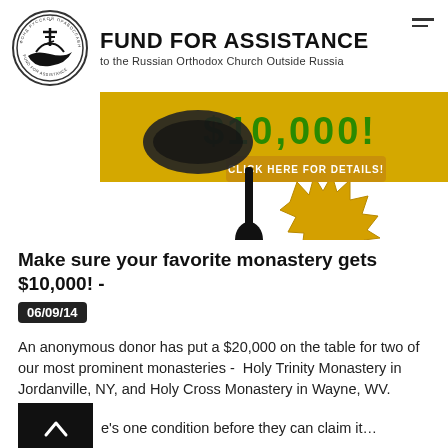[Figure (logo): Circular logo of the Fund for Assistance to the Russian Orthodox Church Outside Russia, showing a cross and ship/wave design with text around the border]
FUND FOR ASSISTANCE to the Russian Orthodox Church Outside Russia
[Figure (photo): Banner image showing a prayer rope/chotki (black knotted rope with tassel) and text '$10,000! CLICK HERE FOR DETAILS!' on a gold/yellow background with a seal graphic]
Make sure your favorite monastery gets $10,000! - 06/09/14
An anonymous donor has put a $20,000 on the table for two of our most prominent monasteries -  Holy Trinity Monastery in Jordanville, NY, and Holy Cross Monastery in Wayne, WV.
There's one condition before they can claim it...